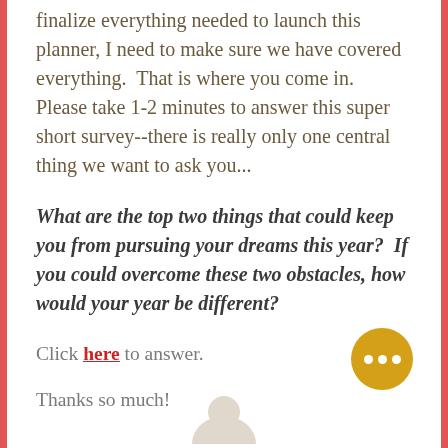finalize everything needed to launch this planner, I need to make sure we have covered everything.  That is where you come in.  Please take 1-2 minutes to answer this super short survey--there is really only one central thing we want to ask you...
What are the top two things that could keep you from pursuing your dreams this year?  If you could overcome these two obstacles, how would your year be different?
Click here to answer.
Thanks so much!